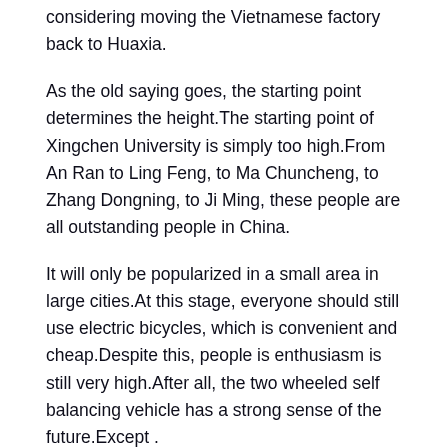considering moving the Vietnamese factory back to Huaxia.
As the old saying goes, the starting point determines the height.The starting point of Xingchen University is simply too high.From An Ran to Ling Feng, to Ma Chuncheng, to Zhang Dongning, to Ji Ming, these people are all outstanding people in China.
It will only be popularized in a small area in large cities.At this stage, everyone should still use electric bicycles, which is convenient and cheap.Despite this, people is enthusiasm is still very high.After all, the two wheeled self balancing vehicle has a strong sense of the future.Except .
4.How Soon After Prostatectomy Can I Take Viagra?